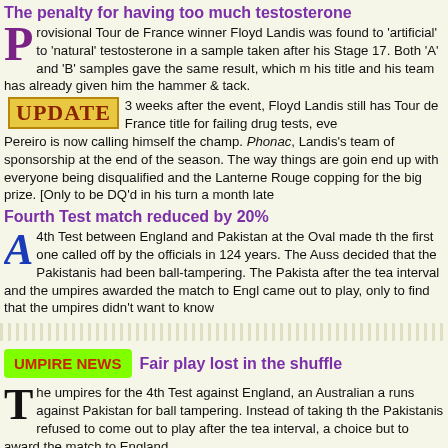The penalty for having too much testosterone
Provisional Tour de France winner Floyd Landis was found to have 'artificial' to 'natural' testosterone in a sample taken after his Stage 17. Both 'A' and 'B' samples gave the same result, which means his title and his team has already given him the hammer & tack.
UPDATE  3 weeks after the event, Floyd Landis still has not lost the Tour de France title for failing drug tests, even though Pereiro is now calling himself the champ. Phonac, Landis's team, dropped out of sponsorship at the end of the season. The way things are going, we might end up with everyone being disqualified and the Lanterne Rouge copping for the big prize. [Only to be DQ'd in his turn a month late
Fourth Test match reduced by 20%
4th Test between England and Pakistan at the Oval made the first one called off by the officials in 124 years. The Auss decided that the Pakistanis had been ball-tampering. The Pakista after the tea interval and the umpires awarded the match to Engl came out to play, only to find that the umpires didn't want to know
UMPIRE NEWS   Fair play lost in the shuffle
The umpires for the 4th Test against England, an Australian and runs against Pakistan for ball tampering. Instead of taking th the Pakistanis refused to come out to play after the tea interval, a choice but to award the match to England.